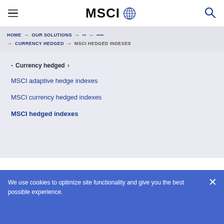MSCI [globe icon] [menu icon] [search icon]
HOME → OUR SOLUTIONS → [text] → [text] → CURRENCY HEDGED → MSCI HEDGED INDEXES
- Currency hedged >
MSCI adaptive hedge indexes
MSCI currency hedged indexes
MSCI hedged indexes
We use cookies to optimize site functionality and give you the best possible experience.